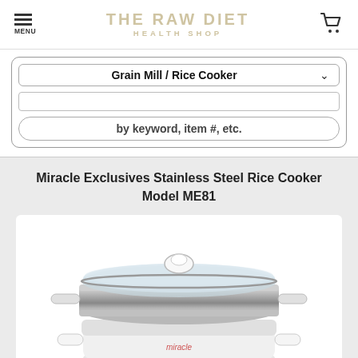THE RAW DIET HEALTH SHOP
Grain Mill / Rice Cooker
by keyword, item #, etc.
Miracle Exclusives Stainless Steel Rice Cooker Model ME81
[Figure (photo): Stainless steel rice cooker with glass lid and white base, brand name 'miracle' visible on the body]